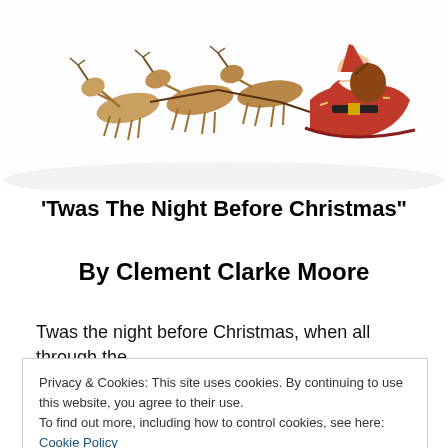[Figure (illustration): Vintage illustration of Santa Claus on a sleigh pulled by reindeer, cropped at top of page showing the sleigh scene from a classic Christmas image]
‘Twas The Night Before Christmas”
By Clement Clarke Moore
Twas the night before Christmas, when all through the
Privacy & Cookies: This site uses cookies. By continuing to use this website, you agree to their use.
To find out more, including how to control cookies, see here: Cookie Policy
Close and accept